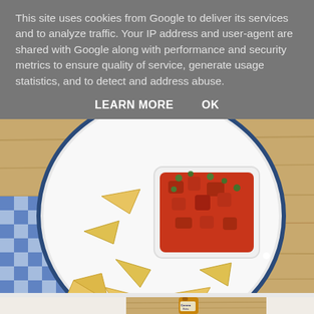This site uses cookies from Google to deliver its services and to analyze traffic. Your IP address and user-agent are shared with Google along with performance and security metrics to ensure quality of service, generate usage statistics, and to detect and address abuse.
LEARN MORE    OK
[Figure (photo): Overhead view of tortilla chips on a white enamel plate with blue rim, with a square white dish of chunky red tomato salsa garnished with herbs, placed on a wooden cutting board with a blue and white gingham cloth napkin.]
[Figure (photo): Partial view of a Corona Extra beer bottle and what appears to be food items on a wooden board, partially visible at the bottom of the page.]